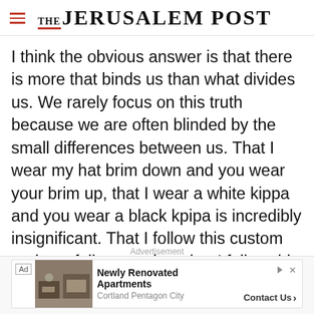THE JERUSALEM POST
I think the obvious answer is that there is more that binds us than what divides us. We rarely focus on this truth because we are often blinded by the small differences between us. That I wear my hat brim down and you wear your brim up, that I wear a white kippa and you wear a black kpipa is incredibly insignificant. That I follow this custom and you follow another, that I follow this train of thought and you follow another is a puny
Advertisement
[Figure (infographic): Ad banner for Newly Renovated Apartments at Cortland Pentagon City with a Contact Us button]